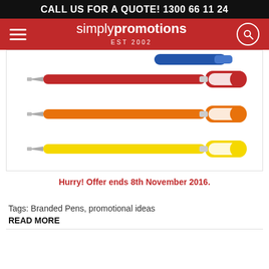CALL US FOR A QUOTE! 1300 66 11 24
[Figure (logo): Simply Promotions logo with EST 2002, on red navigation bar with hamburger menu and search icon]
[Figure (photo): Three promotional ballpoint pens in red, orange, and yellow colors with silver tips and clip design, arranged horizontally]
Hurry! Offer ends 8th November 2016.
Tags: Branded Pens, promotional ideas
READ MORE